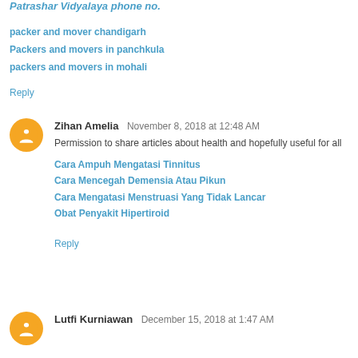Patrashar Vidyalaya phone no.
packer and mover chandigarh
Packers and movers in panchkula
packers and movers in mohali
Reply
Zihan Amelia  November 8, 2018 at 12:48 AM
Permission to share articles about health and hopefully useful for all
Cara Ampuh Mengatasi Tinnitus
Cara Mencegah Demensia Atau Pikun
Cara Mengatasi Menstruasi Yang Tidak Lancar
Obat Penyakit Hipertiroid
Reply
Lutfi Kurniawan  December 15, 2018 at 1:47 AM